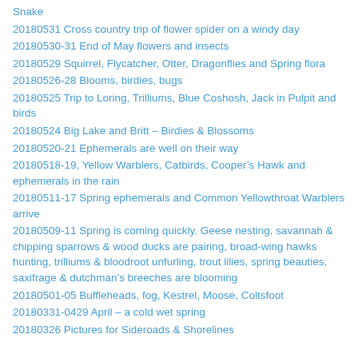Snake
20180531 Cross country trip of flower spider on a windy day
20180530-31 End of May flowers and insects
20180529 Squirrel, Flycatcher, Otter, Dragonflies and Spring flora
20180526-28 Blooms, birdies, bugs
20180525 Trip to Loring, Trilliums, Blue Coshosh, Jack in Pulpit and birds
20180524 Big Lake and Britt – Birdies & Blossoms
20180520-21 Ephemerals are well on their way
20180518-19, Yellow Warblers, Catbirds, Cooper's Hawk and ephemerals in the rain
20180511-17 Spring ephemerals and Common Yellowthroat Warblers arrive
20180509-11 Spring is coming quickly. Geese nesting, savannah & chipping sparrows & wood ducks are pairing, broad-wing hawks hunting, trilliums & bloodroot unfurling, trout lilies, spring beauties, saxifrage & dutchman's breeches are blooming
20180501-05 Buffleheads, fog, Kestrel, Moose, Coltsfoot
20180331-0429 April – a cold wet spring
20180326 Pictures for Sideroads & Shorelines